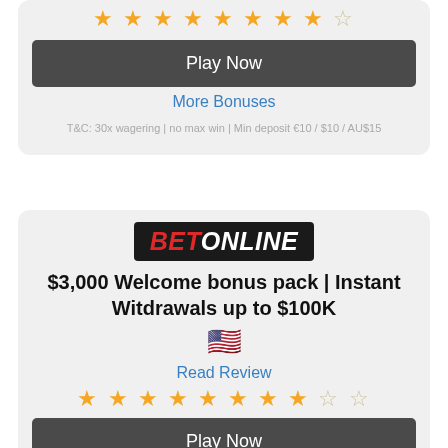[Figure (other): Star rating: 8 filled stars and 1 empty star (partial, 9 of 10 stars shown)]
Play Now
More Bonuses
T&C: 30x wagering | no max win | Min deposit €10 / $10 / AU$15
[Figure (logo): BetOnline logo: black background with red italic BET and white italic ONLINE]
$3,000 Welcome bonus pack | Instant Witdrawals up to $100K
[Figure (other): American flag emoji]
Read Review
[Figure (other): Star rating: 8 filled stars and 2 empty stars (8 of 10)]
Play Now
More Bonuses